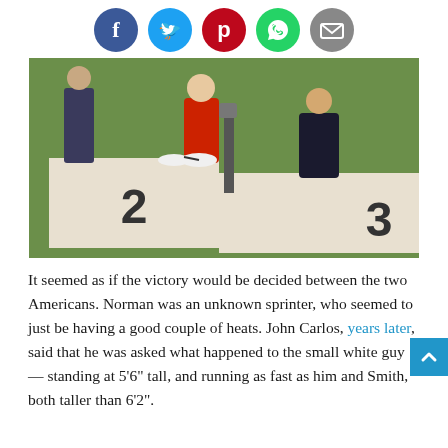[Figure (infographic): Social media sharing icons row: Facebook (blue circle), Twitter (blue circle), Pinterest (red circle), WhatsApp (green circle), Email (grey circle)]
[Figure (photo): Olympic medal ceremony podium photo showing athletes on positions 2 and 3, one in a red outfit, one in a dark suit. A grass field visible in background.]
It seemed as if the victory would be decided between the two Americans. Norman was an unknown sprinter, who seemed to just be having a good couple of heats. John Carlos, years later, said that he was asked what happened to the small white guy — standing at 5’6” tall, and running as fast as him and Smith, both taller than 6’2”.